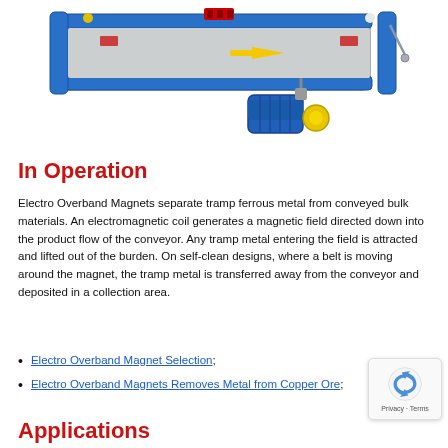[Figure (photo): Photo/illustration of an Electro Overband Magnet conveyor separator unit, showing a blue and gray industrial conveyor belt magnet assembly with a blue electric motor and yellow safety cap.]
In Operation
Electro Overband Magnets separate tramp ferrous metal from conveyed bulk materials. An electromagnetic coil generates a magnetic field directed down into the product flow of the conveyor. Any tramp metal entering the field is attracted and lifted out of the burden. On self-clean designs, where a belt is moving around the magnet, the tramp metal is transferred away from the conveyor and deposited in a collection area.
Electro Overband Magnet Selection;
Electro Overband Magnets Removes Metal from Copper Ore;
Applications